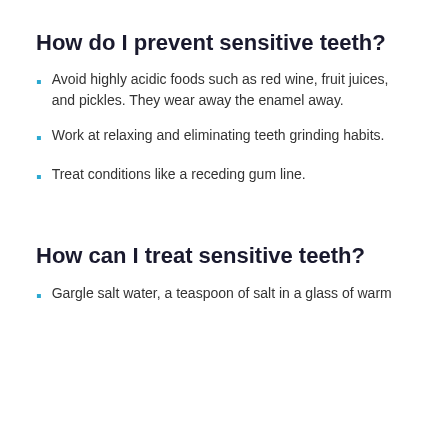How do I prevent sensitive teeth?
Avoid highly acidic foods such as red wine, fruit juices, and pickles. They wear away the enamel away.
Work at relaxing and eliminating teeth grinding habits.
Treat conditions like a receding gum line.
How can I treat sensitive teeth?
Gargle salt water, a teaspoon of salt in a glass of warm